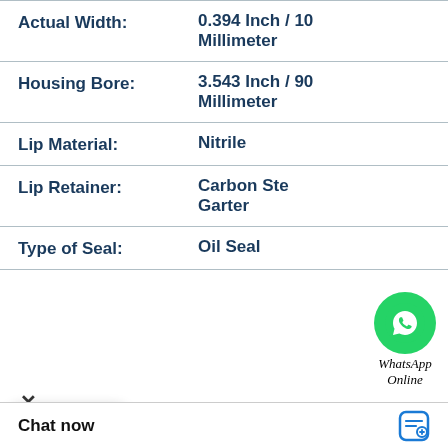| Property | Value |
| --- | --- |
| Actual Width: | 0.394 Inch / 10 Millimeter |
| Housing Bore: | 3.543 Inch / 90 Millimeter |
| Lip Material: | Nitrile |
| Lip Retainer: | Carbon Steel Garter |
| Type of Seal: | Oil Seal |
[Figure (logo): WhatsApp logo green circle with phone icon, labeled 'WhatsApp Online']
× (close button)
[Figure (other): Popup card with three dots loading indicator]
Download 9251-242.626 B 192.4X196.4X4 PTFE Backup RingsPTFE Backup Spec Sheet
Chat now